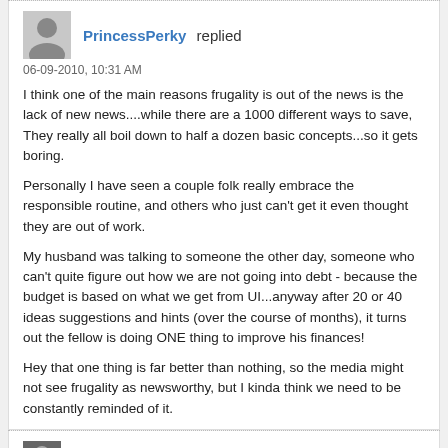PrincessPerky replied
06-09-2010, 10:31 AM
I think one of the main reasons frugality is out of the news is the lack of new news....while there are a 1000 different ways to save, They really all boil down to half a dozen basic concepts...so it gets boring.

Personally I have seen a couple folk really embrace the responsible routine, and others who just can't get it even thought they are out of work.

My husband was talking to someone the other day, someone who can't quite figure out how we are not going into debt - because the budget is based on what we get from UI...anyway after 20 or 40 ideas suggestions and hints (over the course of months), it turns out the fellow is doing ONE thing to improve his finances!

Hey that one thing is far better than nothing, so the media might not see frugality as newsworthy, but I kinda think we need to be constantly reminded of it.
disneysteve replied